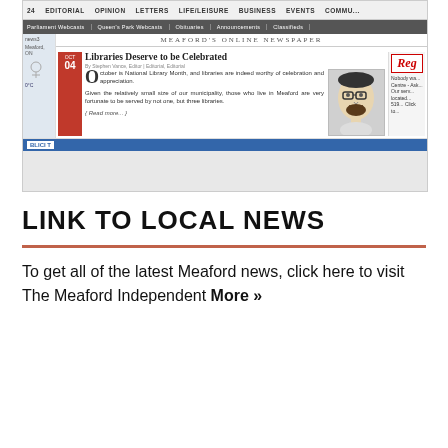[Figure (screenshot): Screenshot of The Meaford Independent online newspaper showing article 'Libraries Deserve to be Celebrated' with navigation bars, date October 04, article text, and a caricature illustration of a man with glasses]
LINK TO LOCAL NEWS
To get all of the latest Meaford news, click here to visit The Meaford Independent More »